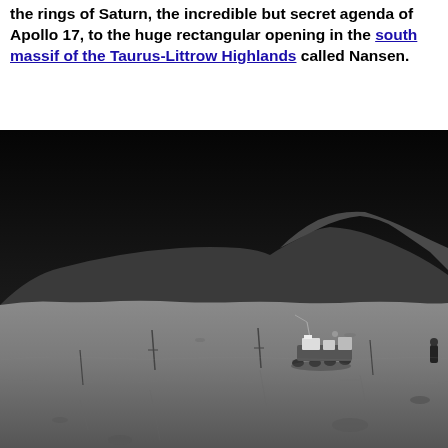the rings of Saturn, the incredible but secret agenda of Apollo 17, to the huge rectangular opening in the south massif of the Taurus-Littrow Highlands called Nansen.
[Figure (photo): Black and white photograph of the lunar surface taken during Apollo 17. The image shows the Taurus-Littrow valley with a dark sky, distant mountain ridges, and a lunar rover visible in the right-center of the frame on the grey lunar terrain.]